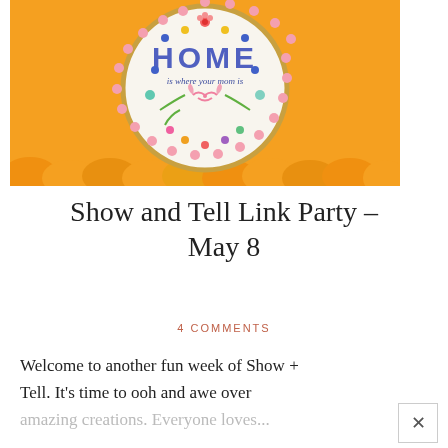[Figure (photo): An embroidery hoop featuring colorful floral embroidery with the text 'HOME is where your mom is' and a pink bow, surrounded by pink pom-pom trim, placed on orange tissue paper/fabric.]
Show and Tell Link Party – May 8
4 COMMENTS
Welcome to another fun week of Show + Tell. It's time to ooh and awe over amazing creations. Everyone loves...